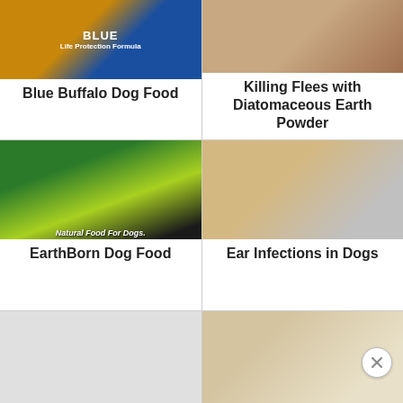[Figure (photo): Blue Buffalo dog food bags (orange and blue packaging) partially cropped at top]
Blue Buffalo Dog Food
[Figure (photo): Close-up of human fingers parting dog fur, looking for fleas]
Killing Flees with Diatomaceous Earth Powder
[Figure (photo): Earthborn Holistic dog food packaging with green and yellow branding, natural food for dogs]
EarthBorn Dog Food
[Figure (photo): Veterinarian examining a beagle dog's ear with otoscope]
Ear Infections in Dogs
[Figure (photo): Partially cropped image at bottom left, appears to be a dog]
[Figure (photo): Partially cropped image at bottom right, appears to be a dog face]